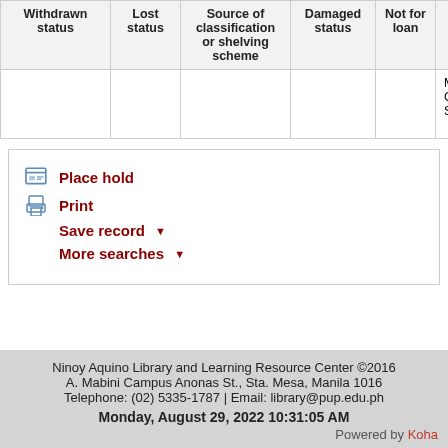| Withdrawn status | Lost status | Source of classification or shelving scheme | Damaged status | Not for loan | Permanent Location | Current Loca... |
| --- | --- | --- | --- | --- | --- | --- |
|  |  |  |  |  | Main Library: Circulation Section | Main Library: Circu... Secti... |
Place hold
Print
Save record ▼
More searches ▼
Ninoy Aquino Library and Learning Resource Center ©2016
A. Mabini Campus Anonas St., Sta. Mesa, Manila 1016
Telephone: (02) 5335-1787 | Email: library@pup.edu.ph
Monday, August 29, 2022 10:31:05 AM
Powered by Koha